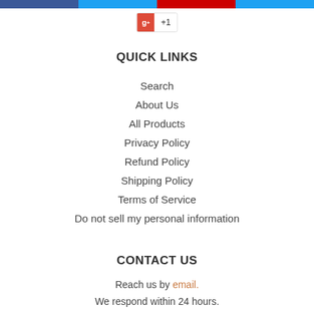[Figure (other): Social share buttons bar at top: Facebook, Twitter, Pinterest, Twitter-style buttons in blue, light blue, red, blue]
[Figure (other): Google+ +1 button widget showing red g+ icon and +1 count]
QUICK LINKS
Search
About Us
All Products
Privacy Policy
Refund Policy
Shipping Policy
Terms of Service
Do not sell my personal information
CONTACT US
Reach us by email.
We respond within 24 hours.